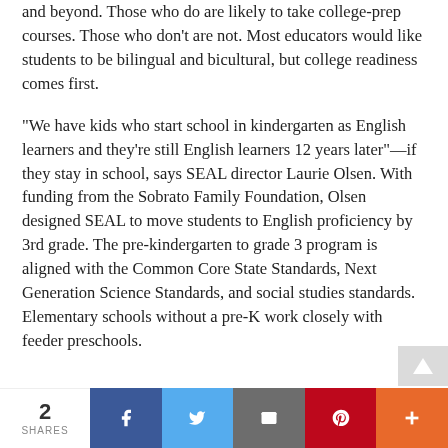and beyond. Those who do are likely to take college-prep courses. Those who don't are not. Most educators would like students to be bilingual and bicultural, but college readiness comes first.
“We have kids who start school in kindergarten as English learners and they’re still English learners 12 years later”—if they stay in school, says SEAL director Laurie Olsen. With funding from the Sobrato Family Foundation, Olsen designed SEAL to move students to English proficiency by 3rd grade. The pre-kindergarten to grade 3 program is aligned with the Common Core State Standards, Next Generation Science Standards, and social studies standards. Elementary schools without a pre-K work closely with feeder preschools.